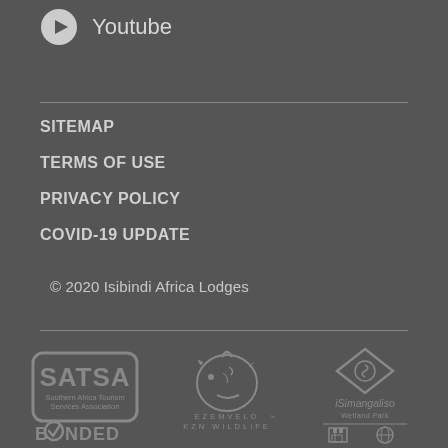Youtube
SITEMAP
TERMS OF USE
PRIVACY POLICY
COVID-19 UPDATE
© 2020 Isibindi Africa Lodges
[Figure (logo): SATSA Southern Africa Tourism Services Association BONDED logo]
[Figure (logo): Ezemvelo KZN Wildlife logo with rhino illustration]
[Figure (logo): iSimangaliso Wetland Park logo with icons]